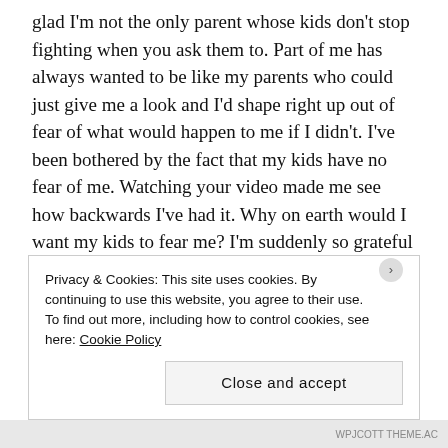glad I'm not the only parent whose kids don't stop fighting when you ask them to. Part of me has always wanted to be like my parents who could just give me a look and I'd shape right up out of fear of what would happen to me if I didn't. I've been bothered by the fact that my kids have no fear of me. Watching your video made me see how backwards I've had it. Why on earth would I want my kids to fear me? I'm suddenly so grateful that they know they can work our their relationship and express themselves without the fear of love being withdrawn or of a painful physical consequence. Your love story has taken on a bigger meaning for me. They may ignore me sometimes but it's because they know they're safe with me. ❤
Privacy & Cookies: This site uses cookies. By continuing to use this website, you agree to their use.
To find out more, including how to control cookies, see here: Cookie Policy
Close and accept